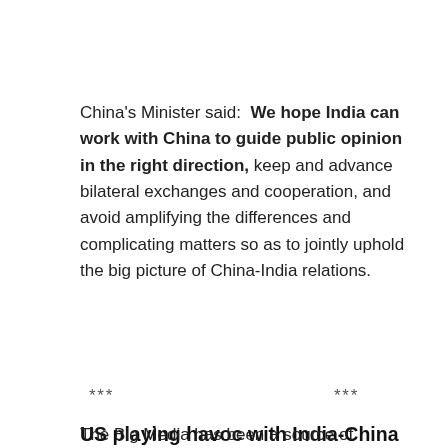China's Minister said:  We hope India can work with China to guide public opinion in the right direction, keep and advance bilateral exchanges and cooperation, and avoid amplifying the differences and complicating matters so as to jointly uphold the big picture of China-India relations.
*** ***
US playing havoc with India-China Relations, Dalai Lama has been a tool
The Big Media has been a source of misinformation and disinformation...